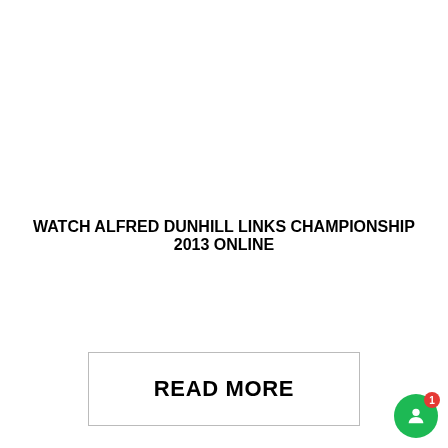WATCH ALFRED DUNHILL LINKS CHAMPIONSHIP 2013 ONLINE
READ MORE
[Figure (illustration): Broken image placeholder with alt text 'watch-m2m-russian-open-2013-online']
[Figure (screenshot): Popup overlay showing: All GOLF - Dedicated Channels in one Panel Watch GOLF All PGA, LPGA, European, Type [icons] and other content...]
[Figure (illustration): Green circular chat button with a person icon and red notification badge showing '1']